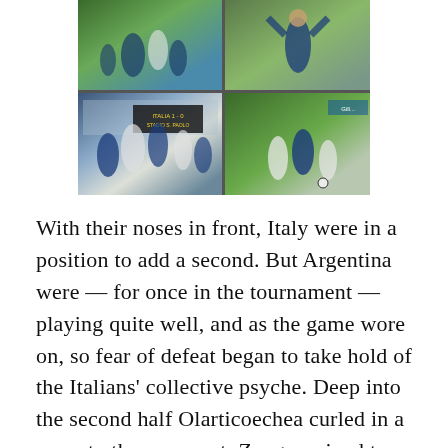[Figure (photo): Four sports photographs arranged in a 2x2 grid showing football (soccer) match scenes. Top-left: players on a green pitch in action. Top-right: a player in blue shirt with arms raised. Bottom-left: celebrating players in white and blue Argentina and Italy kits with a scoreboard showing ITALIA 1-0 STADIO S. PAOLO. Bottom-right: players in white and blue running on a green pitch with Gillette advertising board visible.]
With their noses in front, Italy were in a position to add a second. But Argentina were — for once in the tournament — playing quite well, and as the game wore on, so fear of defeat began to take hold of the Italians' collective psyche. Deep into the second half Olarticoechea curled in a cross to the near post: Zenga arrived to meet it, but was beaten